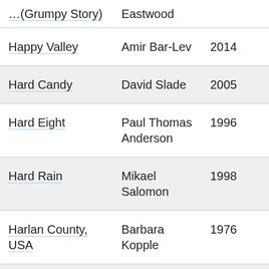| Title | Director | Year |
| --- | --- | --- |
| [partial] …(Grumpy Story) | Eastwood |  |
| Happy Valley | Amir Bar-Lev | 2014 |
| Hard Candy | David Slade | 2005 |
| Hard Eight | Paul Thomas Anderson | 1996 |
| Hard Rain | Mikael Salomon | 1998 |
| Harlan County, USA | Barbara Kopple | 1976 |
| Harold and … | Hal Ashby | 1971 |